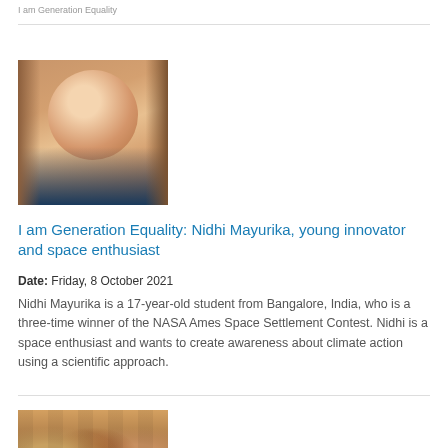I am Generation Equality
[Figure (photo): Portrait photo of Nidhi Mayurika, a young woman smiling, with brick wall and palm plant in the background]
I am Generation Equality: Nidhi Mayurika, young innovator and space enthusiast
Date: Friday, 8 October 2021
Nidhi Mayurika is a 17-year-old student from Bangalore, India, who is a three-time winner of the NASA Ames Space Settlement Contest. Nidhi is a space enthusiast and wants to create awareness about climate action using a scientific approach.
[Figure (photo): Group photo of many children crowded together, colorful clothing visible]